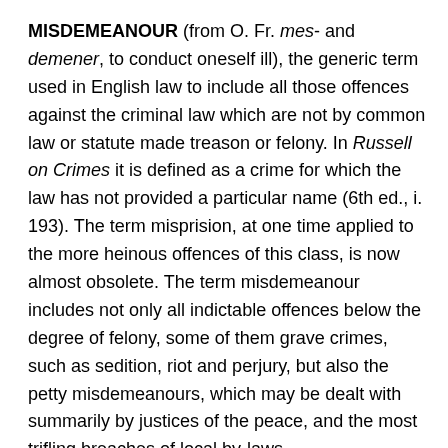MISDEMEANOUR (from O. Fr. mes- and demener, to conduct oneself ill), the generic term used in English law to include all those offences against the criminal law which are not by common law or statute made treason or felony. In Russell on Crimes it is defined as a crime for which the law has not provided a particular name (6th ed., i. 193). The term misprision, at one time applied to the more heinous offences of this class, is now almost obsolete. The term misdemeanour includes not only all indictable offences below the degree of felony, some of them grave crimes, such as sedition, riot and perjury, but also the petty misdemeanours, which may be dealt with summarily by justices of the peace, and the most trifling breaches of local by-laws.
As a matter of legal history, many misdemeanours now represent what were originally described as trespasses